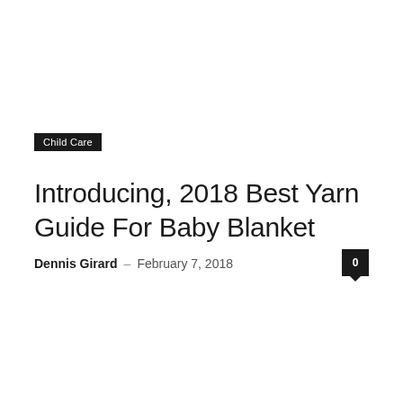Child Care
Introducing, 2018 Best Yarn Guide For Baby Blanket
Dennis Girard – February 7, 2018